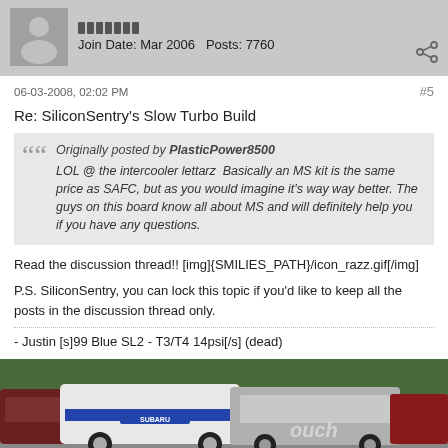Join Date: Mar 2006   Posts: 7760
06-03-2008, 02:02 PM
#5
Re: SiliconSentry's Slow Turbo Build
Originally posted by PlasticPower8500
LOL @ the intercooler lettarz  Basically an MS kit is the same price as SAFC, but as you would imagine it's way way better. The guys on this board know all about MS and will definitely help you if you have any questions.
Read the discussion thread!! [img]{SMILIES_PATH}/icon_razz.gif[/img]
P.S. SiliconSentry, you can lock this topic if you'd like to keep all the posts in the discussion thread only.
- Justin [s]99 Blue SL2 - T3/T4 14psi[/s] (dead)
[Figure (photo): Racing cars photo showing multiple vehicles including a Subaru rally car and other cars at what appears to be a racing event or car meet]